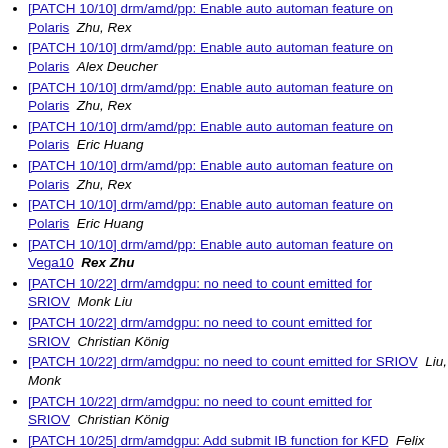[PATCH 10/10] drm/amd/pp: Enable auto automan feature on Polaris   Zhu, Rex
[PATCH 10/10] drm/amd/pp: Enable auto automan feature on Polaris   Alex Deucher
[PATCH 10/10] drm/amd/pp: Enable auto automan feature on Polaris   Zhu, Rex
[PATCH 10/10] drm/amd/pp: Enable auto automan feature on Polaris   Eric Huang
[PATCH 10/10] drm/amd/pp: Enable auto automan feature on Polaris   Zhu, Rex
[PATCH 10/10] drm/amd/pp: Enable auto automan feature on Polaris   Eric Huang
[PATCH 10/10] drm/amd/pp: Enable auto automan feature on Vega10   Rex Zhu
[PATCH 10/22] drm/amdgpu: no need to count emitted for SRIOV   Monk Liu
[PATCH 10/22] drm/amdgpu: no need to count emitted for SRIOV   Christian König
[PATCH 10/22] drm/amdgpu: no need to count emitted for SRIOV   Liu, Monk
[PATCH 10/22] drm/amdgpu: no need to count emitted for SRIOV   Christian König
[PATCH 10/25] drm/amdgpu: Add submit IB function for KFD   Felix Kuehling
[PATCH 10/33] drm/amd/display: add psr_version to stream   Harry Wentland